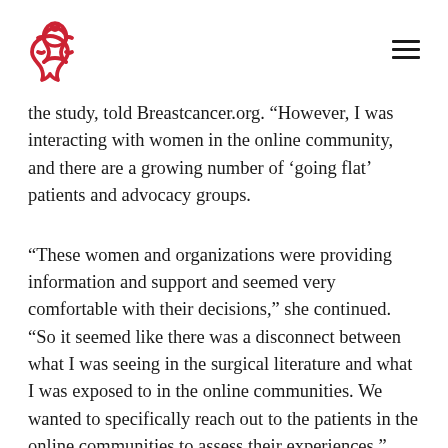Breastcancer.org logo and navigation menu
the study, told Breastcancer.org. “However, I was interacting with women in the online community, and there are a growing number of ‘going flat’ patients and advocacy groups.
“These women and organizations were providing information and support and seemed very comfortable with their decisions,” she continued. “So it seemed like there was a disconnect between what I was seeing in the surgical literature and what I was exposed to in the online communities. We wanted to specifically reach out to the patients in the online communities to assess their experiences.”